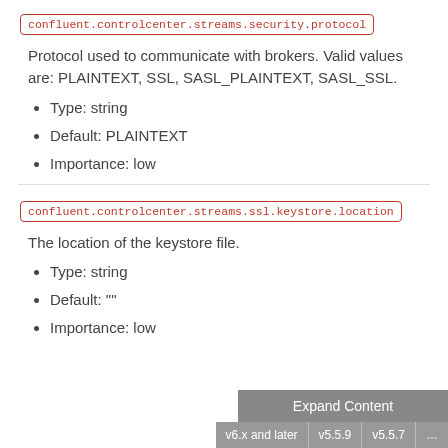confluent.controlcenter.streams.security.protocol
Protocol used to communicate with brokers. Valid values are: PLAINTEXT, SSL, SASL_PLAINTEXT, SASL_SSL.
Type: string
Default: PLAINTEXT
Importance: low
confluent.controlcenter.streams.ssl.keystore.location
The location of the keystore file.
Type: string
Default: ""
Importance: low